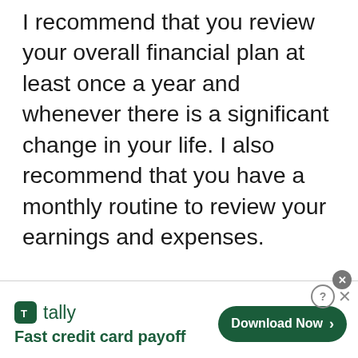I recommend that you review your overall financial plan at least once a year and whenever there is a significant change in your life. I also recommend that you have a monthly routine to review your earnings and expenses.
[Figure (other): Tally app advertisement banner with logo, tagline 'Fast credit card payoff', and a 'Download Now' button with arrow. Includes close/help icons in top right corner.]